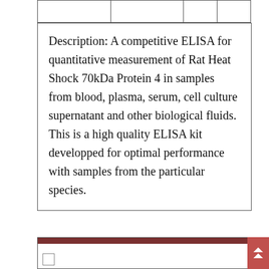| Description: A competitive ELISA for quantitative measurement of Rat Heat Shock 70kDa Protein 4 in samples from blood, plasma, serum, cell culture supernatant and other biological fluids. This is a high quality ELISA kit developped for optimal performance with samples from the particular species. |